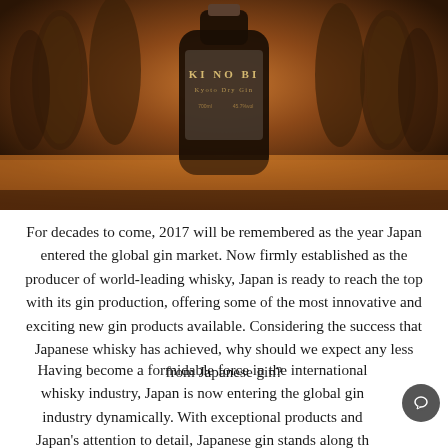[Figure (photo): Photo of a Ki No Bi Kyoto Dry Gin bottle on a wooden surface surrounded by glasses, warm amber lighting]
For decades to come, 2017 will be remembered as the year Japan entered the global gin market. Now firmly established as the producer of world-leading whisky, Japan is ready to reach the top with its gin production, offering some of the most innovative and exciting new gin products available. Considering the success that Japanese whisky has achieved, why should we expect any less from Japanese gin?
Having become a formidable force in the international whisky industry, Japan is now entering the global gin industry dynamically. With exceptional products and Japan's attention to detail, Japanese gin stands along the...